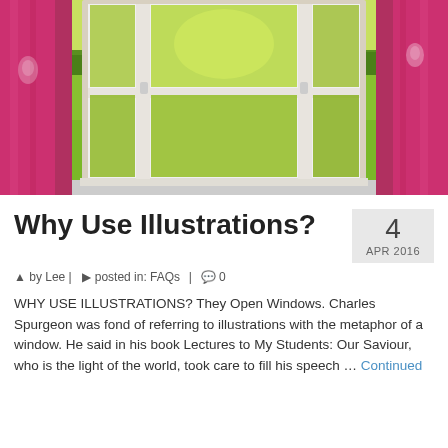[Figure (photo): Open white window with pink/red curtains on both sides, looking out onto a sunny green countryside field with a sheep visible in the distance]
Why Use Illustrations?
4 APR 2016
by Lee | posted in: FAQs | 0
WHY USE ILLUSTRATIONS? They Open Windows. Charles Spurgeon was fond of referring to illustrations with the metaphor of a window. He said in his book Lectures to My Students: Our Saviour, who is the light of the world, took care to fill his speech … Continued